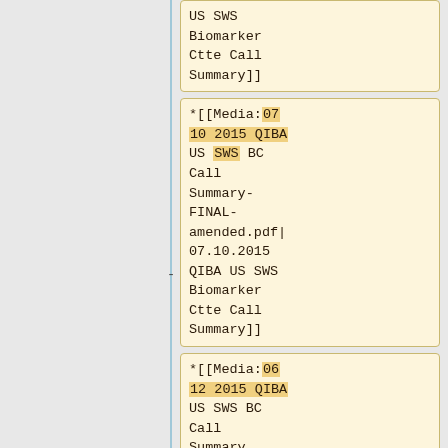US SWS Biomarker Ctte Call Summary]]
*[[Media:07 10 2015 QIBA US SWS BC Call Summary-FINAL-amended.pdf|07.10.2015 QIBA US SWS Biomarker Ctte Call Summary]]
*[[Media:06 12 2015 QIBA US SWS BC Call Summary